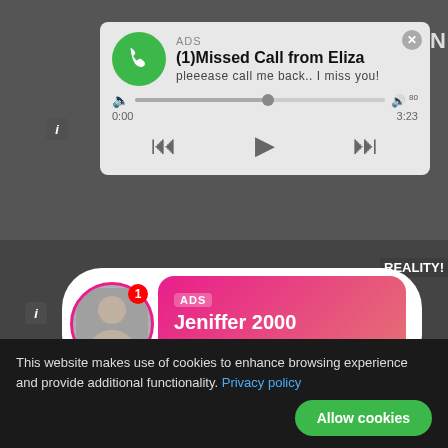[Figure (screenshot): Background collage of video thumbnails]
ADS
(1)Missed Call from Eliza
pleeease call me back.. I miss you!
0:00  3:23
[Figure (screenshot): Second ad: Live chat notification with profile photo of woman, ADS label, Jeniffer 2000, (00:12)]
ADS
Jeniffer 2000
(00:12)
This website makes use of cookies to enhance browsing experience and provide additional functionality. Privacy policy
Allow cookies